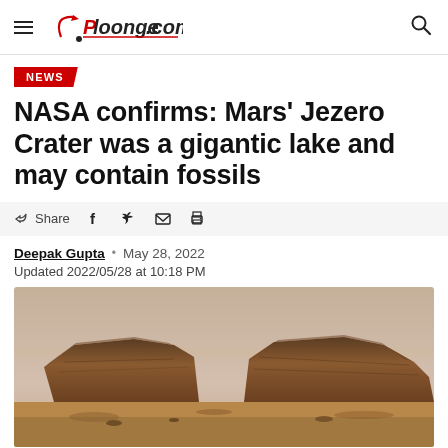Ploonge.com
NEWS
NASA confirms: Mars' Jezero Crater was a gigantic lake and may contain fossils
Share
Deepak Gupta · May 28, 2022
Updated 2022/05/28 at 10:18 PM
[Figure (photo): Mars landscape showing rocky plateau/mesa formation in Jezero Crater, reddish-brown rocky terrain against a hazy pinkish sky]